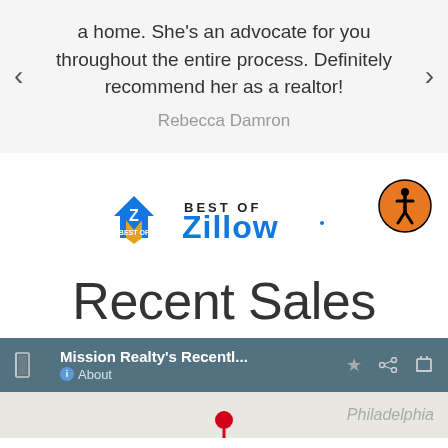a home. She's an advocate for you throughout the entire process. Definitely recommend her as a realtor!
Rebecca Damron
[Figure (logo): Best of Zillow logo with house/Z icon and gold ribbon badge]
[Figure (logo): Accessibility icon — orange circle with stick figure person]
Recent Sales
[Figure (screenshot): Google Maps embed bar showing 'Mission Realty's Recentl...' with About link, star, share, and expand icons on dark teal background, with partial map view showing Philadelphia label and a red pin]